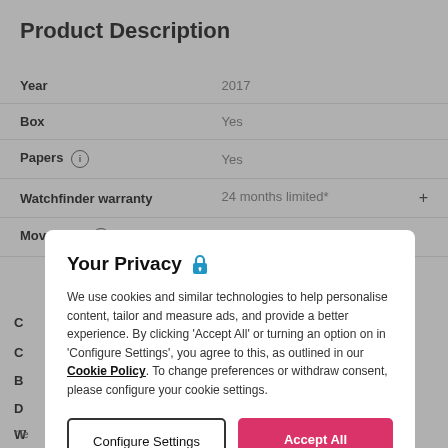Product Description
| Field | Value |
| --- | --- |
| Year | 2017 |
| Box | Yes |
| Papers (i) | Yes |
| Watchfinder warranty | 24 months limited* |
| Movement (i) | Manual |
Your Privacy
We use cookies and similar technologies to help personalise content, tailor and measure ads, and provide a better experience. By clicking 'Accept All' or turning an option on in 'Configure Settings', you agree to this, as outlined in our Cookie Policy. To change preferences or withdraw consent, please configure your cookie settings.
Configure Settings
Accept All